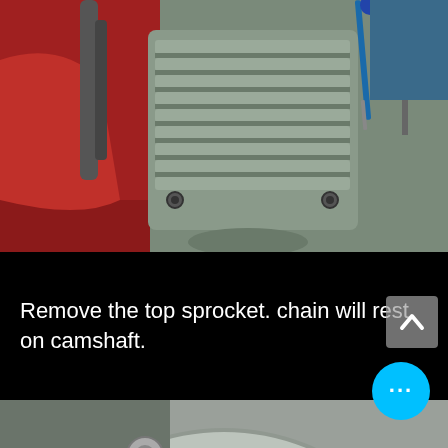[Figure (photo): Close-up photograph of a motorcycle engine cylinder head with fins, showing a screwdriver and red motorcycle frame parts in the background.]
Remove the top sprocket. chain will rest on camshaft.
[Figure (photo): Close-up photograph of a motorcycle engine internals showing a timing chain resting on the camshaft sprocket, with a large circular aluminum engine casing visible.]